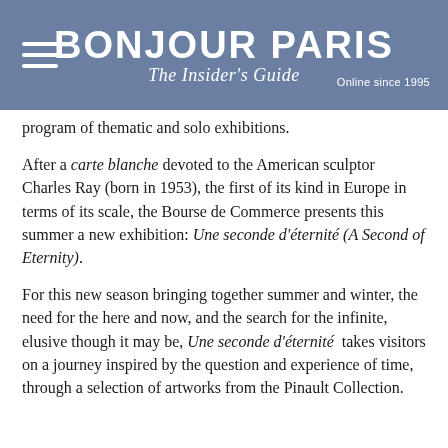BONJOUR PARIS — The Insider's Guide — Online since 1995
program of thematic and solo exhibitions.
After a carte blanche devoted to the American sculptor Charles Ray (born in 1953), the first of its kind in Europe in terms of its scale, the Bourse de Commerce presents this summer a new exhibition: Une seconde d'éternité (A Second of Eternity).
For this new season bringing together summer and winter, the need for the here and now, and the search for the infinite, elusive though it may be, Une seconde d'éternité takes visitors on a journey inspired by the question and experience of time, through a selection of artworks from the Pinault Collection.